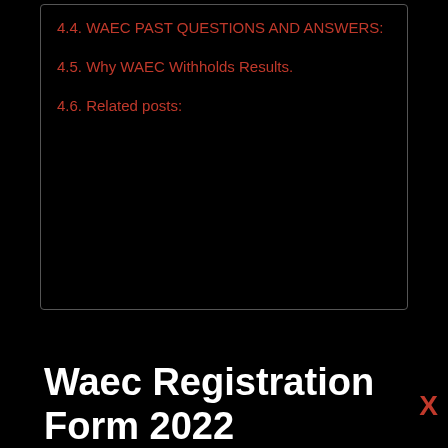4.4. WAEC PAST QUESTIONS AND ANSWERS:
4.5. Why WAEC Withholds Results.
4.6. Related posts:
Waec Registration Form 2022